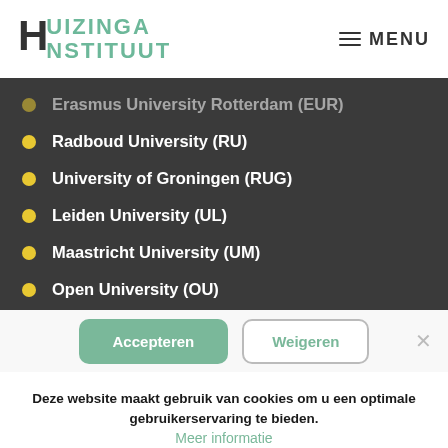HUIZINGA INSTITUUT | MENU
Erasmus University Rotterdam (EUR)
Radboud University (RU)
University of Groningen (RUG)
Leiden University (UL)
Maastricht University (UM)
Open University (OU)
Tilburg University (UvT)
Deze website maakt gebruik van cookies om u een optimale gebruikerservaring te bieden.
Accepteren
Weigeren
Meer informatie